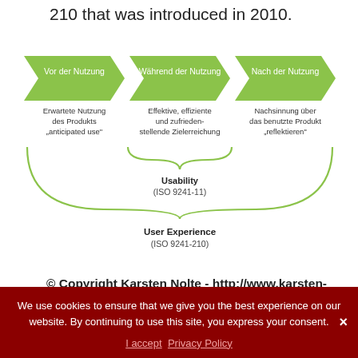210 that was introduced in 2010.
[Figure (infographic): Three green arrow/chevron shapes labeled 'Vor der Nutzung', 'Während der Nutzung', 'Nach der Nutzung' with descriptive text below each, a brace grouping the middle two under 'Usability (ISO 9241-11)', and a larger brace grouping all three under 'User Experience (ISO 9241-210)'.]
© Copyright Karsten Nolte - http://www.karsten-nolte.de ISO 9241-210 describes user experience as follows:
We use cookies to ensure that we give you the best experience on our website. By continuing to use this site, you express your consent.
I accept  Privacy Policy